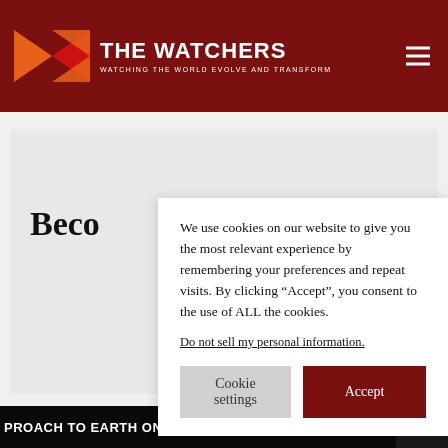THE WATCHERS — WATCHING THE WORLD EVOLVE AND TRANSFORM
Beco
We use cookies on our website to give you the most relevant experience by remembering your preferences and repeat visits. By clicking “Accept”, you consent to the use of ALL the cookies.
Do not sell my personal information.
Cookie settings | Accept
PROACH TO EARTH ON SATURDAY, SEPTEMBER 3, 2022 AT 20